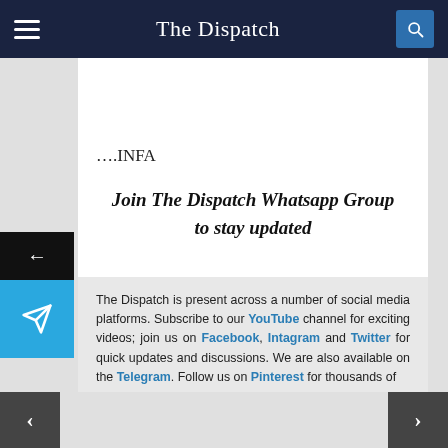The Dispatch
….INFA
Join The Dispatch Whatsapp Group to stay updated
The Dispatch is present across a number of social media platforms. Subscribe to our YouTube channel for exciting videos; join us on Facebook, Intagram and Twitter for quick updates and discussions. We are also available on the Telegram. Follow us on Pinterest for thousands of